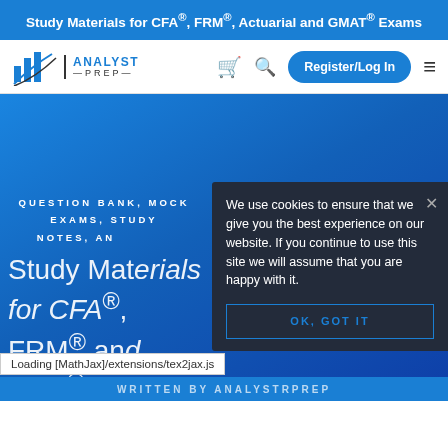Study Materials for CFA®, FRM®, Actuarial and GMAT® Exams
[Figure (screenshot): AnalystPrep navigation bar with logo, cart, search, Register/Log In button, and hamburger menu]
QUESTION BANK, MOCK EXAMS, STUDY NOTES, AND MORE
Study Materials for CFA®, FRM® and SOA® Exams
We use cookies to ensure that we give you the best experience on our website. If you continue to use this site we will assume that you are happy with it.
OK, GOT IT
Loading [MathJax]/extensions/tex2jax.js
WRITTEN BY ANALYSTREP